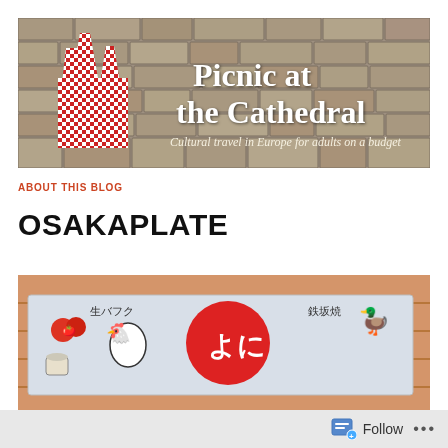[Figure (illustration): Blog header banner for 'Picnic at the Cathedral' — stone wall background, red and white checkered cathedral silhouettes on left, medieval-style white text reading 'Picnic at the Cathedral', subtitle 'Cultural travel in Europe for adults on a budget']
ABOUT THIS BLOG
OSAKAPLATE
[Figure (photo): Photo of a Japanese restaurant sign/banner with cartoon illustrations and Japanese text, placed against a wooden background. Shows tomatoes, a character, a large red circular logo with Japanese characters 'よに', and a duck illustration. Japanese text includes '生バフク' and '鉄坂焼'.]
Follow ···